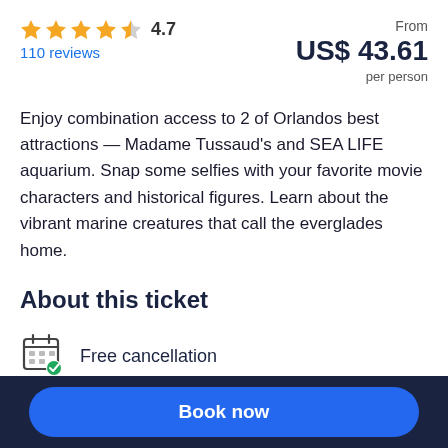★★★★⯨ 4.7
110 reviews
From US$ 43.61 per person
Enjoy combination access to 2 of Orlandos best attractions — Madame Tussaud's and SEA LIFE aquarium. Snap some selfies with your favorite movie characters and historical figures. Learn about the vibrant marine creatures that call the everglades home.
About this ticket
Free cancellation
Cancel up to 24 hours in advance to receive a full refund